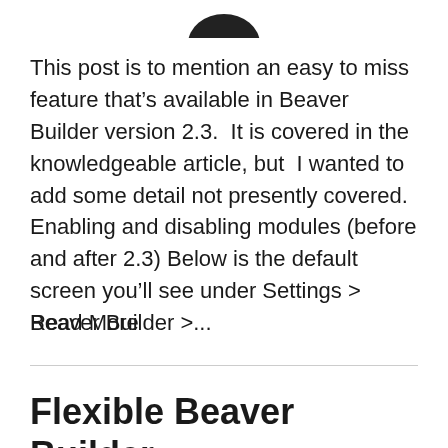[Figure (logo): Partial logo image at top center of page, dark shape partially visible]
This post is to mention an easy to miss feature that's available in Beaver Builder version 2.3. It is covered in the knowledgeable article, but I wanted to add some detail not presently covered. Enabling and disabling modules (before and after 2.3) Below is the default screen you'll see under Settings > Beaver Builder >...
Read More
Flexible Beaver Builder